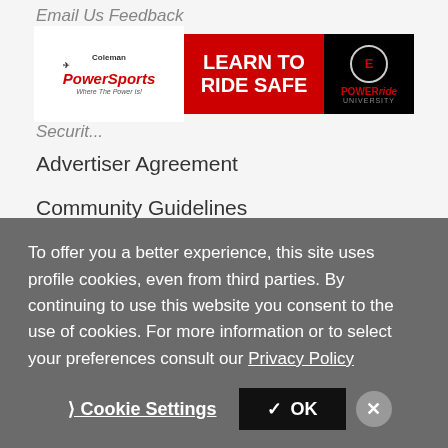Email Us Feedback
[Figure (illustration): Coleman PowerSports advertisement banner with 'LEARN TO RIDE SAFE' text and PowerRide University logo on black/red background]
Security
Advertiser Agreement
Community Guidelines
Copyright
Privacy Policy
Terms of Use
Cycle Trader Affiliates
Aircraft on AeroTrader.com
ATVs on ATVTrader.com
To offer you a better experience, this site uses profile cookies, even from third parties. By continuing to use this website you consent to the use of cookies. For more information or to select your preferences consult our Privacy Policy
Cookie Settings   ✓ OK